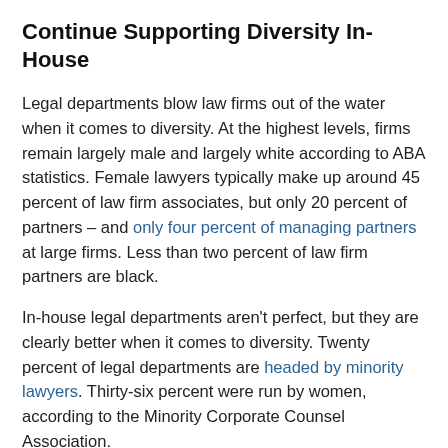Continue Supporting Diversity In-House
Legal departments blow law firms out of the water when it comes to diversity. At the highest levels, firms remain largely male and largely white according to ABA statistics. Female lawyers typically make up around 45 percent of law firm associates, but only 20 percent of partners – and only four percent of managing partners at large firms. Less than two percent of law firm partners are black.
In-house legal departments aren't perfect, but they are clearly better when it comes to diversity. Twenty percent of legal departments are headed by minority lawyers. Thirty-six percent were run by women, according to the Minority Corporate Counsel Association.
There is, of course, room to improve. Women and attorneys of color are still underrepresented in-house when compared to the general workforce and even law school graduates.